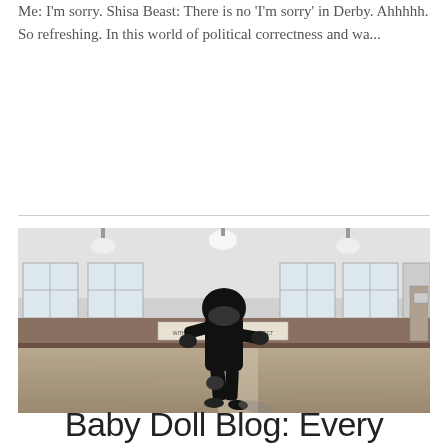Me: I'm sorry. Shisa Beast: There is no 'I'm sorry' in Derby. Ahhhhh. So refreshing. In this world of political correctness and wa...
[Figure (photo): Black and white photo of a roller derby skater in full gear (helmet, knee pads, dark clothing) skating on an indoor gymnasium/roller derby rink floor. The skater is viewed from behind/side, mid-stride. Large windows line the walls in the background. The gym has wooden flooring and a basketball hoop visible on the right side.]
Baby Doll Blog: Every